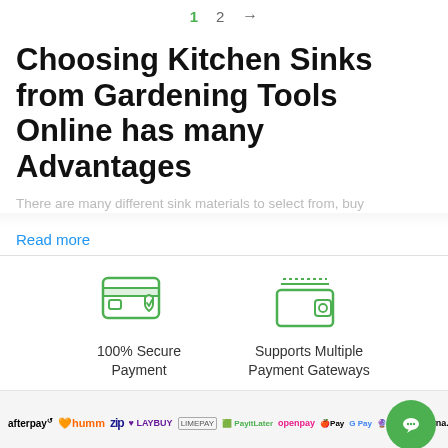1  2  →
Choosing Kitchen Sinks from Gardening Tools Online has many Advantages
There are many different sink materials to select from, buy
Read more
[Figure (illustration): Green outline icon of a credit card with a shield/checkmark overlay]
100% Secure Payment
[Figure (illustration): Green outline icon of a wallet/billfold]
Supports Multiple Payment Gateways
[Figure (illustration): Row of payment gateway logos: afterpay, humm, zip, laybuy, limepay, paytlater, openpay, Apple Pay, Google Pay, wizpay, Klarna, bank transfer]
Fully